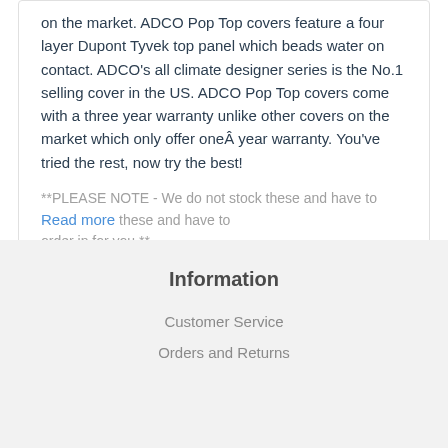on the market. ADCO Pop Top covers feature a four layer Dupont Tyvek top panel which beads water on contact. ADCO's all climate designer series is the No.1 selling cover in the US. ADCO Pop Top covers come with a three year warranty unlike other covers on the market which only offer oneÂ year warranty. You've tried the rest, now try the best!
**PLEASE NOTE - We do not stock these and have to Read more
Information
Customer Service
Orders and Returns